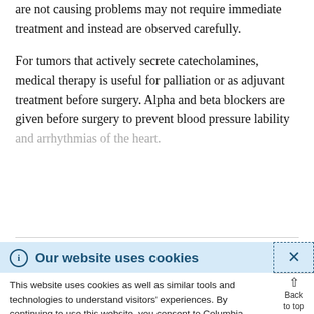are not causing problems may not require immediate treatment and instead are observed carefully.
For tumors that actively secrete catecholamines, medical therapy is useful for palliation or as adjuvant treatment before surgery. Alpha and beta blockers are given before surgery to prevent blood pressure lability and arrhythmias of the heart.
Our website uses cookies — This website uses cookies as well as similar tools and technologies to understand visitors' experiences. By continuing to use this website, you consent to Columbia University's usage of cookies and similar technologies in accordance with the Columbia University Website Cookie Notice.